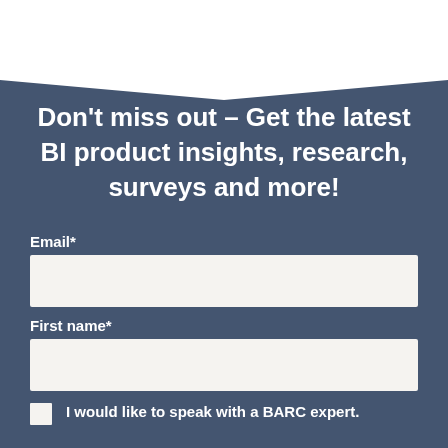Don't miss out – Get the latest BI product insights, research, surveys and more!
Email*
First name*
I would like to speak with a BARC expert.
I would like to subscribe to the newsletter and be informed (by phone